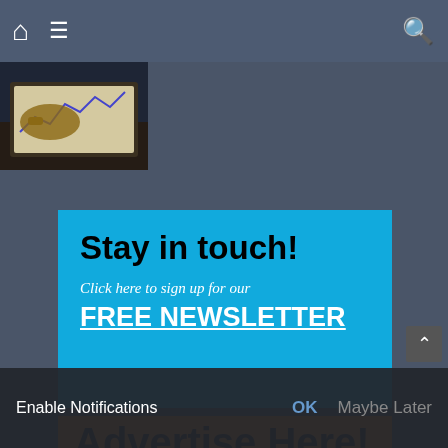[Figure (screenshot): Website navigation bar with home icon, menu icon, and search icon on dark slate background]
[Figure (photo): Thumbnail photo of a hand writing on paper with chart/graph lines visible]
[Figure (infographic): Blue banner advertisement reading 'Stay in touch! Click here to sign up for our FREE NEWSLETTER']
Stay in touch!
Click here to sign up for our FREE NEWSLETTER
[Figure (infographic): Orange banner partially visible reading 'Advertise Here!' and 'Looking for Advertising Options?']
Advertise Here!
Looking for Advertising Options?
Enable Notifications
OK
Maybe Later